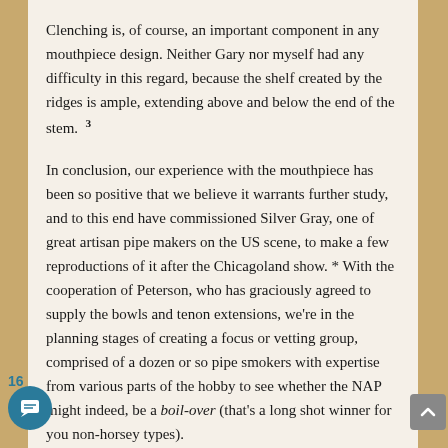Clenching is, of course, an important component in any mouthpiece design. Neither Gary nor myself had any difficulty in this regard, because the shelf created by the ridges is ample, extending above and below the end of the stem. 3
In conclusion, our experience with the mouthpiece has been so positive that we believe it warrants further study, and to this end have commissioned Silver Gray, one of great artisan pipe makers on the US scene, to make a few reproductions of it after the Chicagoland show. * With the cooperation of Peterson, who has graciously agreed to supply the bowls and tenon extensions, we're in the planning stages of creating a focus or vetting group, comprised of a dozen or so pipe smokers with expertise from various parts of the hobby to see whether the NAP might indeed, be a boil-over (that's a long shot winner for you non-horsey types).
16